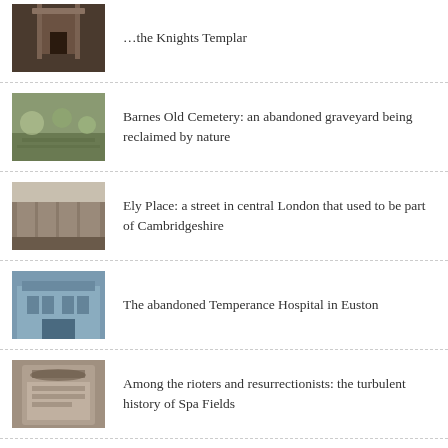… the Knights Templar
Barnes Old Cemetery: an abandoned graveyard being reclaimed by nature
Ely Place: a street in central London that used to be part of Cambridgeshire
The abandoned Temperance Hospital in Euston
Among the rioters and resurrectionists: the turbulent history of Spa Fields
Exploring Blackwell, a stunning Arts and Crafts house in the heart of the Lake District
The last ruins of Dunwich, Suffolk's lost medieval town